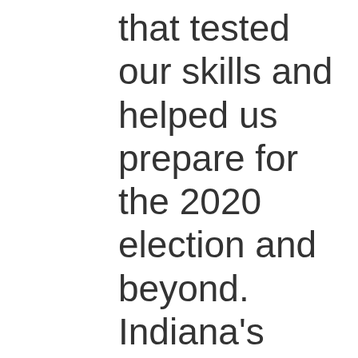that tested our skills and helped us prepare for the 2020 election and beyond. Indiana's election administrators are better prepared thanks to IU's hard